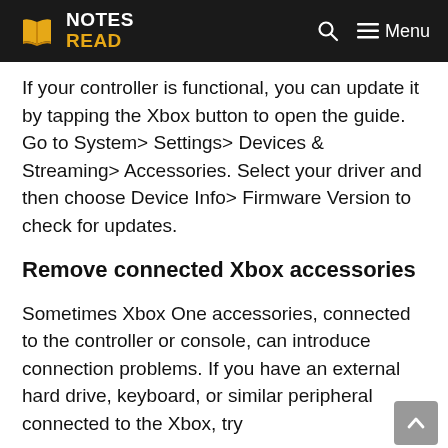NOTES READ
If your controller is functional, you can update it by tapping the Xbox button to open the guide. Go to System> Settings> Devices & Streaming> Accessories. Select your driver and then choose Device Info> Firmware Version to check for updates.
Remove connected Xbox accessories
Sometimes Xbox One accessories, connected to the controller or console, can introduce connection problems. If you have an external hard drive, keyboard, or similar peripheral connected to the Xbox, try